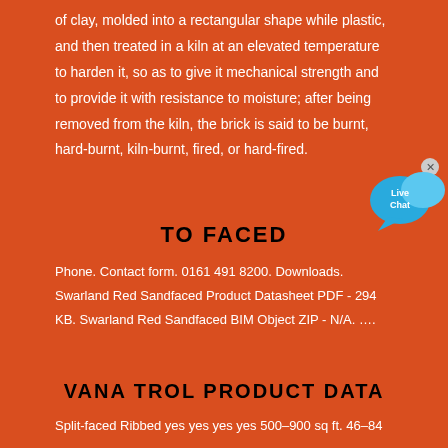of clay, molded into a rectangular shape while plastic, and then treated in a kiln at an elevated temperature to harden it, so as to give it mechanical strength and to provide it with resistance to moisture; after being removed from the kiln, the brick is said to be burnt, hard-burnt, kiln-burnt, fired, or hard-fired.
[Figure (other): Live Chat button/widget with speech bubble icon in blue]
TO FACED
Phone. Contact form. 0161 491 8200. Downloads. Swarland Red Sandfaced Product Datasheet PDF - 294 KB. Swarland Red Sandfaced BIM Object ZIP - N/A. ….
VANA TROL PRODUCT DATA
Split-faced Ribbed yes yes yes yes 500–900 sq ft. 46–84